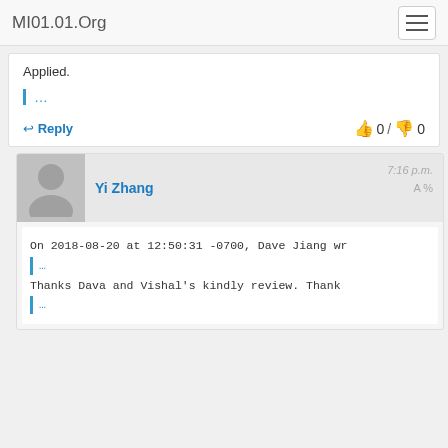MI01.01.Org
Applied.
| ...
↩ Reply  👍 0 / 👎 0
Yi Zhang   7:16 p.m.  A%
On 2018-08-20 at 12:50:31 -0700, Dave Jiang wr
| ...
Thanks Dava and Vishal's kindly review. Thank
| ...